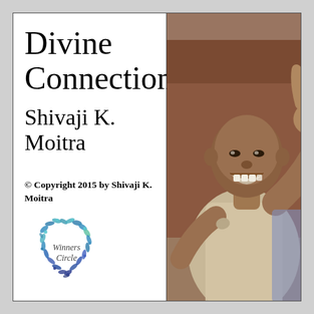Divine Connections
Shivaji K. Moitra
© Copyright 2015 by Shivaji K. Moitra
[Figure (logo): Winners Circle logo: a heart-shaped wreath of blue and teal flowers/leaves with the text 'Winners Circle' inside]
[Figure (photo): A smiling child of South/Southeast Asian appearance reaching toward the camera with their hand outstretched, wearing a worn light-colored shirt, photographed outdoors]